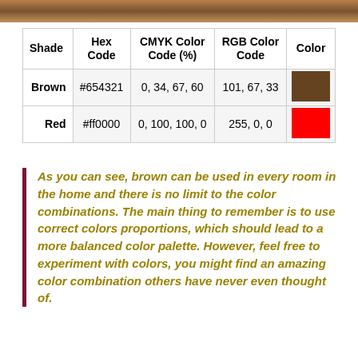[Figure (photo): Cropped top portion of a room interior photo showing warm brown tones]
| Shade | Hex Code | CMYK Color Code (%) | RGB Color Code | Color |
| --- | --- | --- | --- | --- |
| Brown | #654321 | 0, 34, 67, 60 | 101, 67, 33 | [brown swatch] |
| Red | #ff0000 | 0, 100, 100, 0 | 255, 0, 0 | [red swatch] |
As you can see, brown can be used in every room in the home and there is no limit to the color combinations. The main thing to remember is to use correct colors proportions, which should lead to a more balanced color palette. However, feel free to experiment with colors, you might find an amazing color combination others have never even thought of.